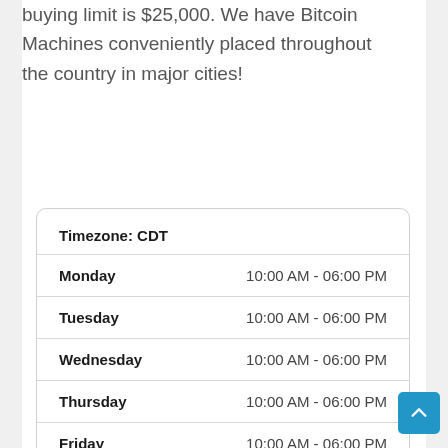buying limit is $25,000. We have Bitcoin Machines conveniently placed throughout the country in major cities!
| Day | Hours |
| --- | --- |
| Monday | 10:00 AM - 06:00 PM |
| Tuesday | 10:00 AM - 06:00 PM |
| Wednesday | 10:00 AM - 06:00 PM |
| Thursday | 10:00 AM - 06:00 PM |
| Friday | 10:00 AM - 06:00 PM |
| Saturday | 10:00 AM - 06:00 PM |